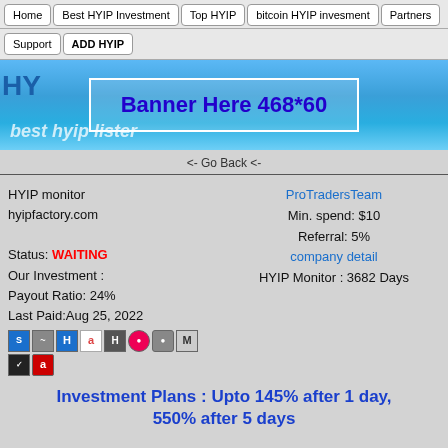Home | Best HYIP Investment | Top HYIP | bitcoin HYIP invesment | Partners
Support | ADD HYIP
[Figure (other): Banner placeholder showing sky background with text 'Banner Here 468*60' and 'best hyip lister']
<- Go Back <-
HYIP monitor
hyipfactory.com
Status: WAITING
Our Investment :
Payout Ratio: 24%
Last Paid:Aug 25, 2022
ProTradersTeam
Min. spend: $10
Referral: 5%
company detail
HYIP Monitor : 3682 Days
Investment Plans : Upto 145% after 1 day, 550% after 5 days